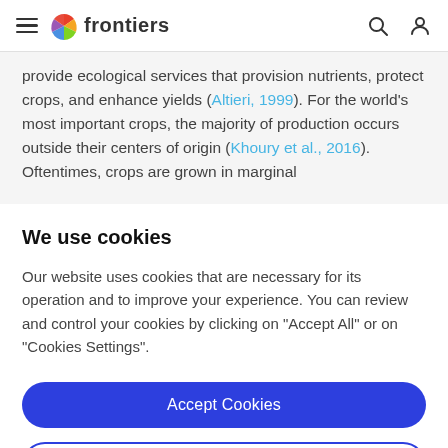frontiers
provide ecological services that provision nutrients, protect crops, and enhance yields (Altieri, 1999). For the world's most important crops, the majority of production occurs outside their centers of origin (Khoury et al., 2016). Oftentimes, crops are grown in marginal
We use cookies
Our website uses cookies that are necessary for its operation and to improve your experience. You can review and control your cookies by clicking on "Accept All" or on "Cookies Settings".
Accept Cookies
Cookies Settings